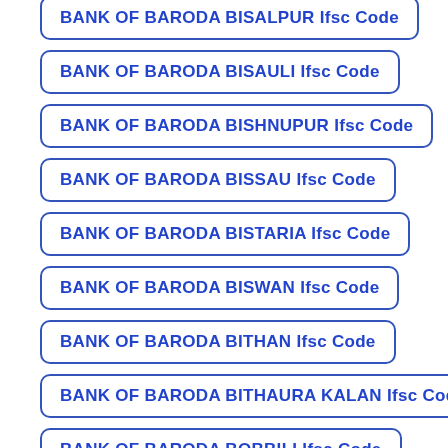BANK OF BARODA BISALPUR Ifsc Code
BANK OF BARODA BISAULI Ifsc Code
BANK OF BARODA BISHNUPUR Ifsc Code
BANK OF BARODA BISSAU Ifsc Code
BANK OF BARODA BISTARIA Ifsc Code
BANK OF BARODA BISWAN Ifsc Code
BANK OF BARODA BITHAN Ifsc Code
BANK OF BARODA BITHAURA KALAN Ifsc Code
BANK OF BARODA BOBBILI Ifsc Code
BANK OF BARODA BODAKDEV Ifsc Code
BANK OF BARODA BODAL Ifsc Code